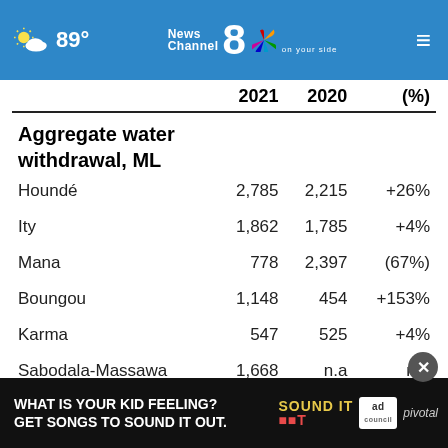[Figure (logo): News Channel 8 NBC affiliate header bar with weather (89°), logo, and hamburger menu]
|  | 2021 | 2020 | (%) |
| --- | --- | --- | --- |
| Aggregate water withdrawal, ML |  |  |  |
| Houndé | 2,785 | 2,215 | +26% |
| Ity | 1,862 | 1,785 | +4% |
| Mana | 778 | 2,397 | (67%) |
| Boungou | 1,148 | 454 | +153% |
| Karma | 547 | 525 | +4% |
| Sabodala-Massawa | 1,668 | n.a | n.a |
| Wahgnion | 1,253 | n.a | n.a |
| Group total | ... | ... | -36% |
[Figure (screenshot): Ad overlay: 'What is your kid feeling? Get songs to sound it out.' with Sound It Out, Ad Council, and Pivotal branding]